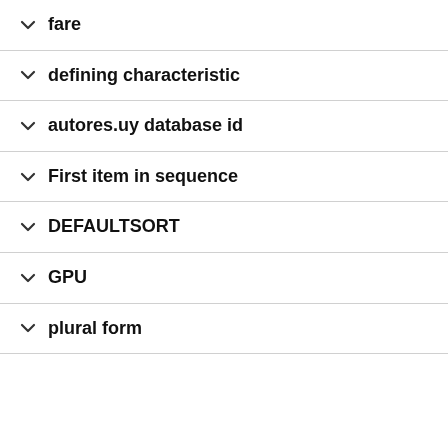fare
defining characteristic
autores.uy database id
First item in sequence
DEFAULTSORT
GPU
plural form